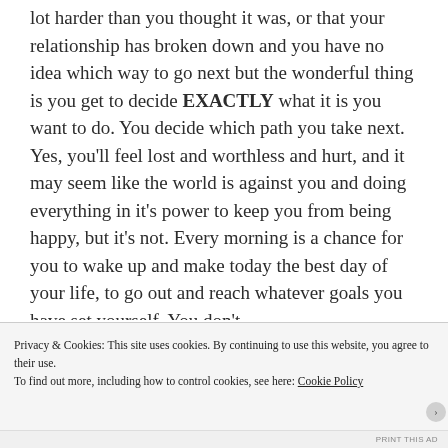lot harder than you thought it was, or that your relationship has broken down and you have no idea which way to go next but the wonderful thing is you get to decide EXACTLY what it is you want to do. You decide which path you take next. Yes, you'll feel lost and worthless and hurt, and it may seem like the world is against you and doing everything in it's power to keep you from being happy, but it's not. Every morning is a chance for you to wake up and make today the best day of your life, to go out and reach whatever goals you have set yourself. You don't
Privacy & Cookies: This site uses cookies. By continuing to use this website, you agree to their use.
To find out more, including how to control cookies, see here: Cookie Policy
Close and accept
PRINT THIS AD